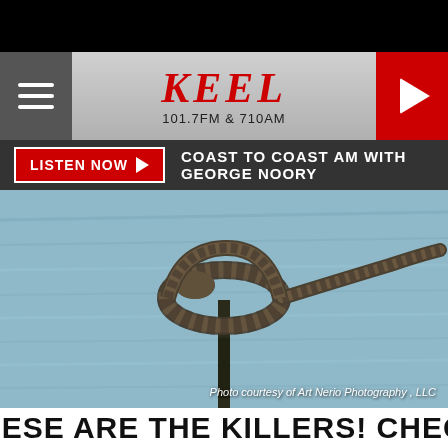[Figure (screenshot): KEEL 101.7FM & 710AM radio station website screenshot showing header with hamburger menu, KEEL logo, play button, listen now bar with Coast to Coast AM with George Noory, and a photo of a snake coiled around a post in water with credit to Art Nerio Photography LLC]
THESE ARE THE KILLERS! CHECK